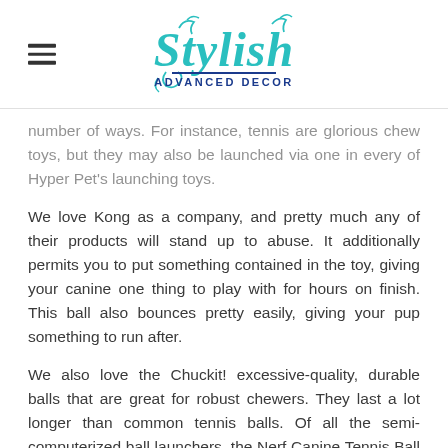[Figure (logo): Stylish Advanced Decor logo with teal cursive text and decorative flourishes, with a hamburger menu icon to the left]
number of ways. For instance, tennis are glorious chew toys, but they may also be launched via one in every of Hyper Pet's launching toys.
We love Kong as a company, and pretty much any of their products will stand up to abuse. It additionally permits you to put something contained in the toy, giving your canine one thing to play with for hours on finish. This ball also bounces pretty easily, giving your pup something to run after.
We also love the Chuckit! excessive-quality, durable balls that are great for robust chewers. They last a lot longer than common tennis balls. Of all the semi-computerized ball launchers, the Nerf Canine Tennis Ball Launcher is by far my favourite. A frisbee is a must have dog toy for most canine, and the Chuckit! Flying Squirrel incorporates a